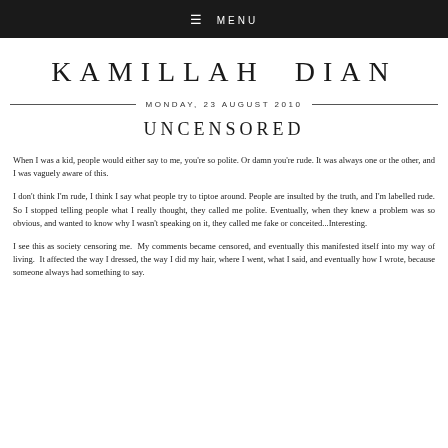≡ MENU
KAMILLAH DIAN
MONDAY, 23 AUGUST 2010
UNCENSORED
When I was a kid, people would either say to me, you're so polite. Or damn you're rude. It was always one or the other, and I was vaguely aware of this.
I don't think I'm rude, I think I say what people try to tiptoe around. People are insulted by the truth, and I'm labelled rude. So I stopped telling people what I really thought, they called me polite. Eventually, when they knew a problem was so obvious, and wanted to know why I wasn't speaking on it, they called me fake or conceited...Interesting.
I see this as society censoring me.  My comments became censored, and eventually this manifested itself into my way of living.  It affected the way I dressed, the way I did my hair, where I went, what I said, and eventually how I wrote, because someone always had something to say.